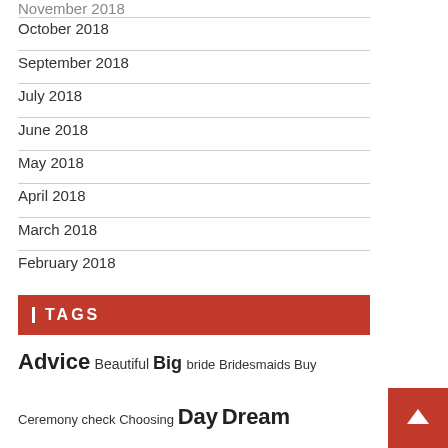November 2018
October 2018
September 2018
July 2018
June 2018
May 2018
April 2018
March 2018
February 2018
TAGS
Advice Beautiful Big bride Bridesmaids Buy Ceremony check Choosing Day Dream